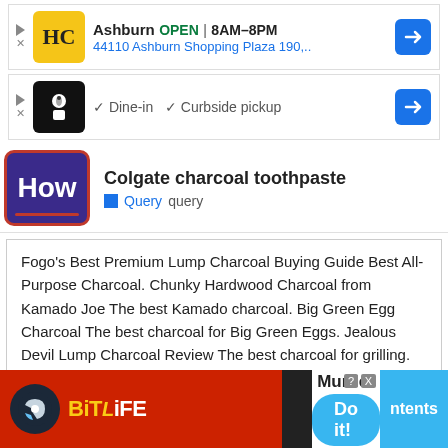[Figure (screenshot): Ad box: HC logo, Ashburn OPEN 8AM-8PM, 44110 Ashburn Shopping Plaza 190, with navigation arrow icon]
[Figure (screenshot): Ad box: chef logo, checkmark Dine-in, checkmark Curbside pickup, with navigation arrow icon]
Colgate charcoal toothpaste
Query  query
Fogo's Best Premium Lump Charcoal Buying Guide Best All-Purpose Charcoal. Chunky Hardwood Charcoal from Kamado Joe The best Kamado charcoal. Big Green Egg Charcoal The best charcoal for Big Green Eggs. Jealous Devil Lump Charcoal Review The best charcoal for grilling. Fogo!. Rockwood Lump Charcoal The best natural charcoal. Grill Dome The best charcoal for Kamado.
Is lump charcoal the best charcoal for smoking foods?
[Figure (screenshot): BitLife ad banner with Murder - Do it! promotion and ntents tab]